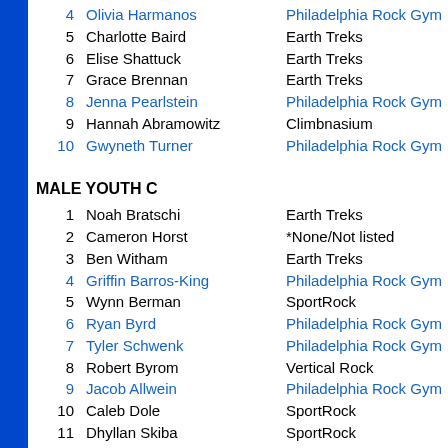4  Olivia Harmanos  Philadelphia Rock Gym
5  Charlotte Baird  Earth Treks
6  Elise Shattuck  Earth Treks
7  Grace Brennan  Earth Treks
8  Jenna Pearlstein  Philadelphia Rock Gym
9  Hannah Abramowitz  Climbnasium
10  Gwyneth Turner  Philadelphia Rock Gym
MALE YOUTH C
1  Noah Bratschi  Earth Treks
2  Cameron Horst  *None/Not listed
3  Ben Witham  Earth Treks
4  Griffin Barros-King  Philadelphia Rock Gym
5  Wynn Berman  SportRock
6  Ryan Byrd  Philadelphia Rock Gym
7  Tyler Schwenk  Philadelphia Rock Gym
8  Robert Byrom  Vertical Rock
9  Jacob Allwein  Philadelphia Rock Gym
10  Caleb Dole  SportRock
11  Dhyllan Skiba  SportRock
12  Casey Kaercher  Philadelphia Rock Gym
13  Kurt Mannick  Doylestown Rock Gym
14  Matthew Van Meter  Philadelphia Rock Gym